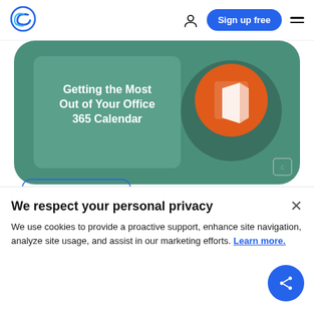Calendly logo | person icon | Sign up free | hamburger menu
[Figure (screenshot): Green rounded banner image showing text 'Getting the Most Out of Your Office 365 Calendar' with Microsoft Office logo icon on teal/green background]
We respect your personal privacy
We use cookies to provide a proactive support, enhance site navigation, analyze site usage, and assist in our marketing efforts. Learn more.